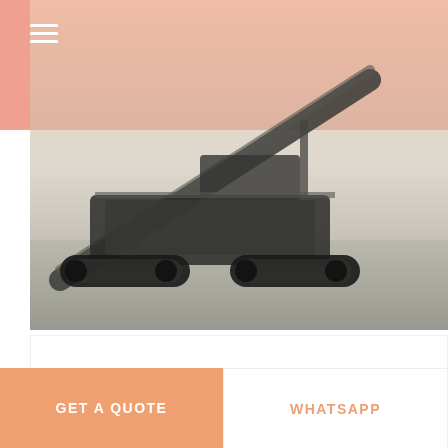[Figure (photo): Hydraulic-driven track mobile plant machine photographed outdoors on pavement, showing tracked undercarriage and conveyor belt structure against a light background]
Hydraulic-driven Track Mobile Plant
[Figure (photo): Industrial vibrating screen or crushing machine inside a factory/warehouse, with Chinese text signage visible on the right side]
GET A QUOTE
WHATSAPP